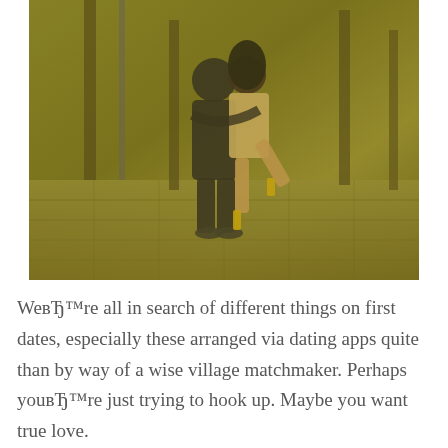[Figure (photo): A couple dancing or embracing on a wet city sidewalk/boulevard. The man is in dark clothing and lifts the woman who is wearing a short beige/tan dress and high heels. The scene has a warm yellowish-green tint, with trees and parked cars visible in the background.]
WeвЂ™re all in search of different things on first dates, especially these arranged via dating apps quite than by way of a wise village matchmaker. Perhaps youвЂ™re just trying to hook up. Maybe you want true love.